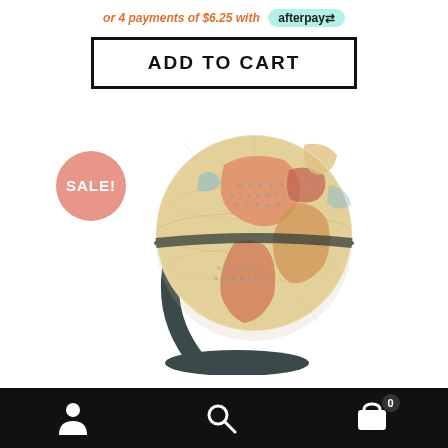or 4 payments of $6.25 with afterpay
ADD TO CART
[Figure (photo): Antique-style world globe on a dark curved stand with a SALE badge overlay]
Navigation bar with account, search, and cart icons